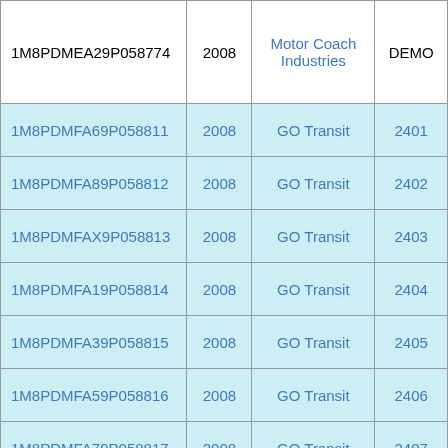| VIN | Year | Operator | Fleet# |
| --- | --- | --- | --- |
| 1M8PDMEA29P058774 | 2008 | Motor Coach Industries | DEMO |
| 1M8PDMFA69P058811 | 2008 | GO Transit | 2401 |
| 1M8PDMFA89P058812 | 2008 | GO Transit | 2402 |
| 1M8PDMFAX9P058813 | 2008 | GO Transit | 2403 |
| 1M8PDMFA19P058814 | 2008 | GO Transit | 2404 |
| 1M8PDMFA39P058815 | 2008 | GO Transit | 2405 |
| 1M8PDMFA59P058816 | 2008 | GO Transit | 2406 |
| 1M8PDMFA79P058817 | 2008 | GO Transit | 2407 |
| 1M8PDMFA99P058818 | 2008 | GO Transit | 2408 |